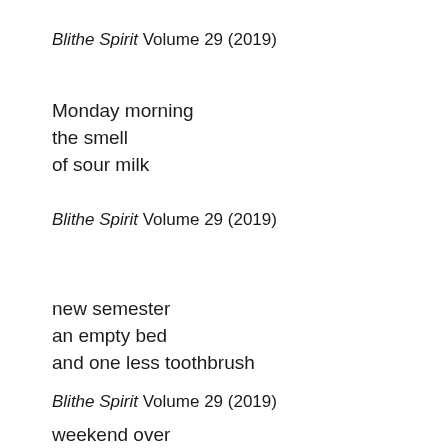Blithe Spirit Volume 29 (2019)
Monday morning
the smell
of sour milk
Blithe Spirit Volume 29 (2019)
new semester
an empty bed
and one less toothbrush
Blithe Spirit Volume 29 (2019)
weekend over